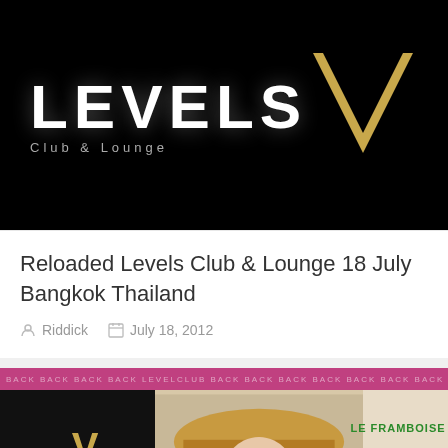[Figure (photo): Levels Club & Lounge logo on black background with large white LEVELS text and gold V logo on the right]
Reloaded Levels Club & Lounge 18 July Bangkok Thailand
Riddick   July 18, 2012
[Figure (photo): Promotional event image for Levels Club & Lounge showing a man holding something to his eye, with the Levels logo on the left, pink banner across the top, and green text on the right]